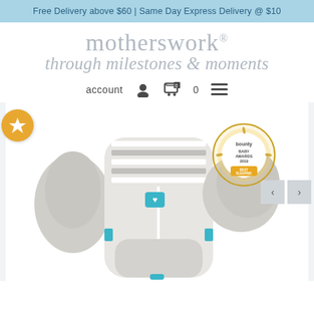Free Delivery above $60 | Same Day Express Delivery @ $10
motherswork®
through milestones & moments
account  🛒 0  ☰
[Figure (photo): Baby sleep product (Swaddle/sleeping bag) displayed with accessories, with a Bounty Baby Awards 2019 Gold Best Sleeping Bag badge, on a white background.]